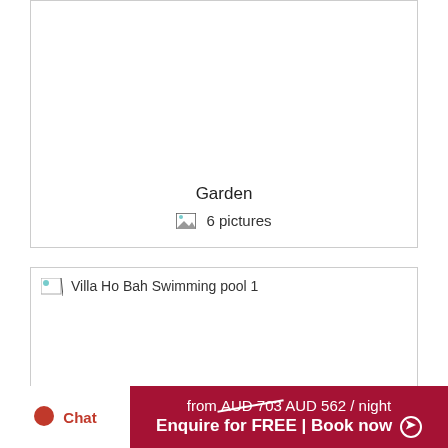[Figure (photo): Garden image card with placeholder image area, label 'Garden' and '6 pictures' indicator]
Garden
6 pictures
[Figure (photo): Villa Ho Bah Swimming pool 1 image card with broken image icon]
Villa Ho Bah Swimming pool 1
Chat
from AUD 703 AUD 562 / night
Enquire for FREE | Book now